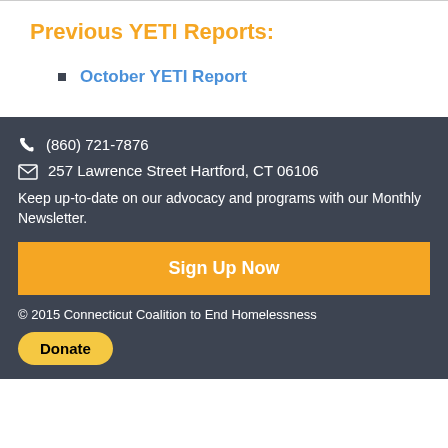Previous YETI Reports:
October YETI Report
(860) 721-7876
257 Lawrence Street Hartford, CT 06106
Keep up-to-date on our advocacy and programs with our Monthly Newsletter.
Sign Up Now
© 2015 Connecticut Coalition to End Homelessness
Donate